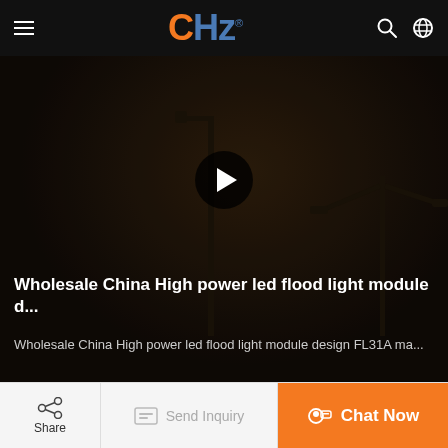CHZ® — navigation header with hamburger menu, logo, search and language icons
[Figure (screenshot): Dark night-scene video thumbnail showing street lamp silhouettes against a dark background, with a play button overlay in the center]
Wholesale China High power led flood light module d...
Wholesale China High power led flood light module design FL31A ma...
Share | Send Inquiry | Chat Now